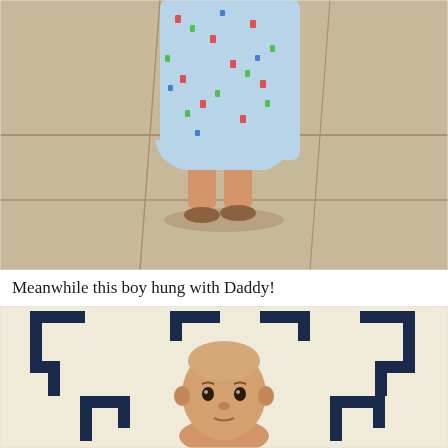[Figure (photo): A child wearing a light blue patterned gown/outfit standing on concrete pavement tiles, photographed from behind/above showing legs and feet with sandals.]
Meanwhile this boy hung with Daddy!
[Figure (photo): A newborn baby lying on a cream and navy geometric patterned rug/blanket, looking upward at the camera.]